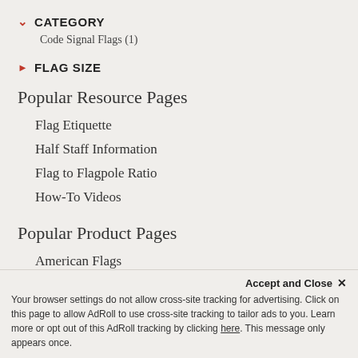CATEGORY
Code Signal Flags (1)
FLAG SIZE
Popular Resource Pages
Flag Etiquette
Half Staff Information
Flag to Flagpole Ratio
How-To Videos
Popular Product Pages
American Flags
Custom Flags & Banners
Accept and Close ✕
Your browser settings do not allow cross-site tracking for advertising. Click on this page to allow AdRoll to use cross-site tracking to tailor ads to you. Learn more or opt out of this AdRoll tracking by clicking here. This message only appears once.